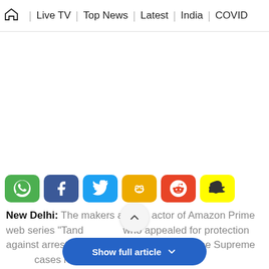🏠 | Live TV | Top News | Latest | India | COVID
[Figure (other): White blank advertisement/content area]
[Figure (infographic): Social share buttons row: WhatsApp (green), Facebook (dark blue), Twitter (light blue), Koo (yellow/orange), Reddit (orange-red), Snapchat (yellow)]
New Delhi: The makers and an actor of Amazon Prime web series "Tand... who appealed for protection against arrest, failed to get any relief from the Supreme ... cases have
[Figure (other): Show full article button (blue rounded rectangle) with chevron icon]
[Figure (other): Scroll up circular button with upward chevron icon]